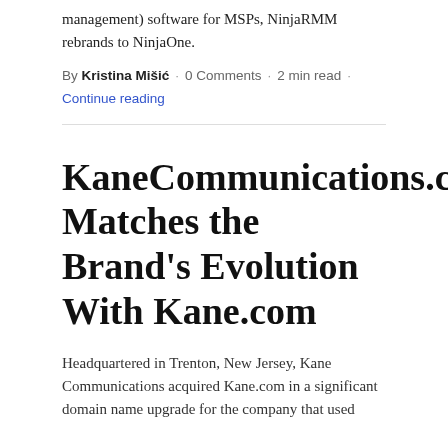management) software for MSPs, NinjaRMM rebrands to NinjaOne.
By Kristina Mišić · 0 Comments · 2 min read ·
Continue reading
KaneCommunications.com Matches the Brand's Evolution With Kane.com
Headquartered in Trenton, New Jersey, Kane Communications acquired Kane.com in a significant domain name upgrade for the company that used